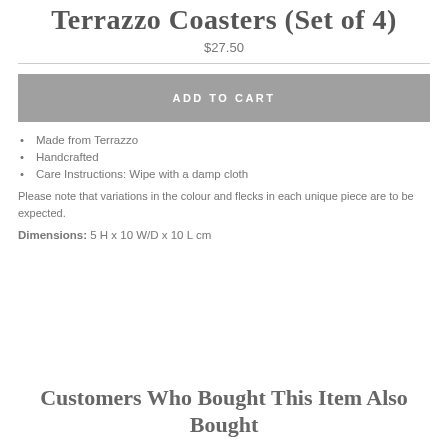Terrazzo Coasters (Set of 4)
$27.50
ADD TO CART
Made from Terrazzo
Handcrafted
Care Instructions: Wipe with a damp cloth
Please note that variations in the colour and flecks in each unique piece are to be expected.
Dimensions: 5 H x 10 W/D x 10 L cm
Customers Who Bought This Item Also Bought